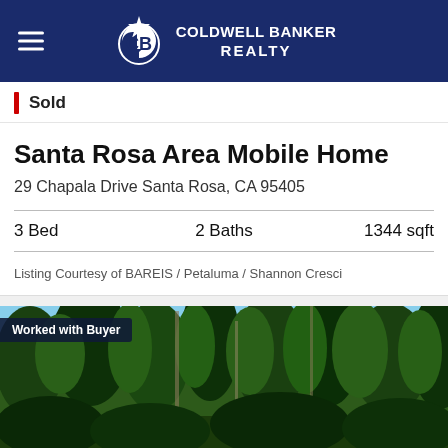COLDWELL BANKER REALTY
Sold
Santa Rosa Area Mobile Home
29 Chapala Drive Santa Rosa, CA 95405
3 Bed   2 Baths   1344 sqft
Listing Courtesy of BAREIS / Petaluma / Shannon Cresci
[Figure (photo): Exterior photo of property showing trees and natural wooded area with blue sky. Badge reads: Worked with Buyer]